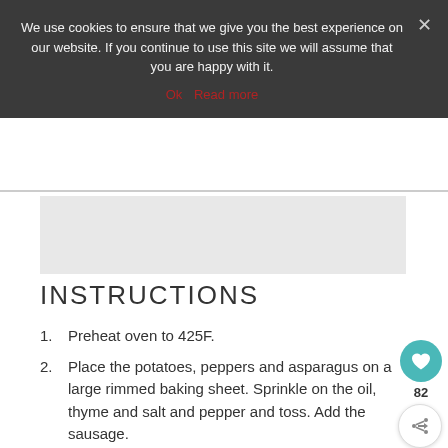We use cookies to ensure that we give you the best experience on our website. If you continue to use this site we will assume that you are happy with it.
Ok   Read more
[Figure (photo): Gray image placeholder region]
INSTRUCTIONS
1. Preheat oven to 425F.
2. Place the potatoes, peppers and asparagus on a large rimmed baking sheet. Sprinkle on the oil, thyme and salt and pepper and toss. Add the sausage.
3. Bake for 30 min. or until potatoes are tender and starting to brown. Serve immediately.